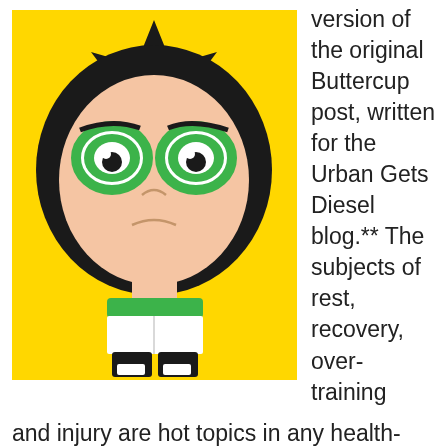[Figure (illustration): Cartoon image of Buttercup from The Powerpuff Girls on a yellow background, showing her angry face with green eyes and black hair with a star shape, wearing a green outfit with a white square on it and black shoes.]
version of the original Buttercup post, written for the Urban Gets Diesel blog.** The subjects of rest, recovery, over-training and injury are hot topics in any health-minded community.  Debating, "Should I rest or push through it?" is never-ending, and a quick Google search, message board scan or poll of the coaches in your gym will provide you with rationale to back up whatever decision you
and injury are hot topics in any health-minded community.  Debating, "Should I rest or push through it?" is never-ending, and a quick Google search, message board scan or poll of the coaches in your gym will provide you with rationale to back up whatever decision you